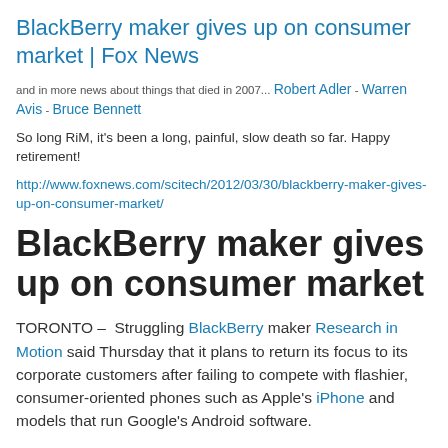BlackBerry maker gives up on consumer market | Fox News
and in more news about things that died in 2007... Robert Adler - Warren Avis - Bruce Bennett
So long RiM, it's been a long, painful, slow death so far. Happy retirement!
http://www.foxnews.com/scitech/2012/03/30/blackberry-maker-gives-up-on-consumer-market/
BlackBerry maker gives up on consumer market
TORONTO – Struggling BlackBerry maker Research in Motion said Thursday that it plans to return its focus to its corporate customers after failing to compete with flashier, consumer-oriented phones such as Apple's iPhone and models that run Google's Android software.